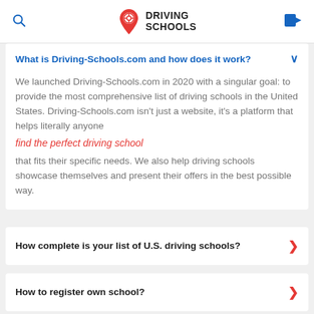DRIVING SCHOOLS
What is Driving-Schools.com and how does it work?
We launched Driving-Schools.com in 2020 with a singular goal: to provide the most comprehensive list of driving schools in the United States. Driving-Schools.com isn't just a website, it's a platform that helps literally anyone find the perfect driving school that fits their specific needs. We also help driving schools showcase themselves and present their offers in the best possible way.
How complete is your list of U.S. driving schools?
How to register own school?